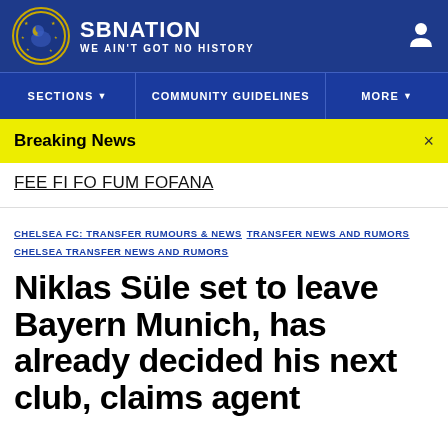SBNATION — WE AIN'T GOT NO HISTORY
SECTIONS | COMMUNITY GUIDELINES | MORE
Breaking News
FEE FI FO FUM FOFANA
CHELSEA FC: TRANSFER RUMOURS & NEWS  TRANSFER NEWS AND RUMORS  CHELSEA TRANSFER NEWS AND RUMORS
Niklas Süle set to leave Bayern Munich, has already decided his next club, claims agent